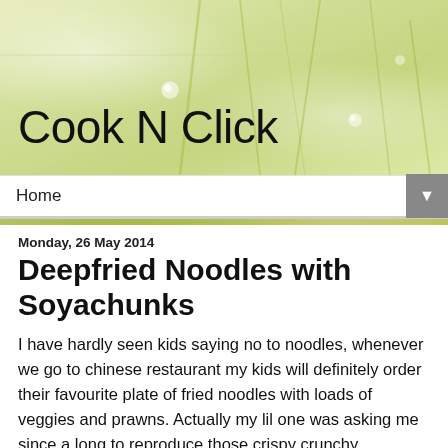[Figure (photo): Green grass/plant stems with water droplets background image for blog header]
Cook N Click
Home ▼
Monday, 26 May 2014
Deepfried Noodles with Soyachunks
I have hardly seen kids saying no to noodles, whenever we go to chinese restaurant my kids will definitely order their favourite plate of fried noodles with loads of veggies and prawns. Actually my lil one was asking me since a long to reproduce those crispy crunchy deepfried noodles at home.I dont want to give a try as am avoiding deepfrying at home. But i couldnt resist to my lil one's request and prepared this deepfried noodles few weeks back for our lunch. I dont pack lunch for my kids as their schools are not far away from our